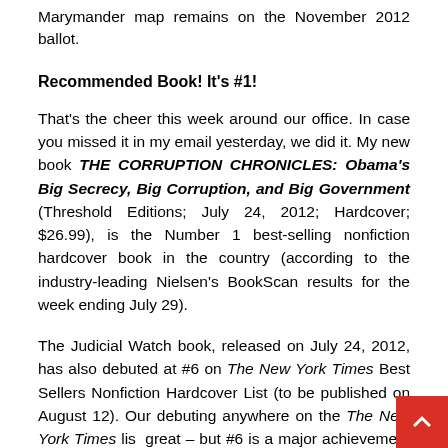Marymander map remains on the November 2012 ballot.
Recommended Book! It's #1!
That's the cheer this week around our office. In case you missed it in my email yesterday, we did it. My new book THE CORRUPTION CHRONICLES: Obama's Big Secrecy, Big Corruption, and Big Government (Threshold Editions; July 24, 2012; Hardcover; $26.99), is the Number 1 best-selling nonfiction hardcover book in the country (according to the industry-leading Nielsen's BookScan results for the week ending July 29).
The Judicial Watch book, released on July 24, 2012, has also debuted at #6 on The New York Times Best Sellers Nonfiction Hardcover List (to be published on August 12). Our debuting anywhere on the The New York Times list is great – but #6 is a major achievement for our cause!